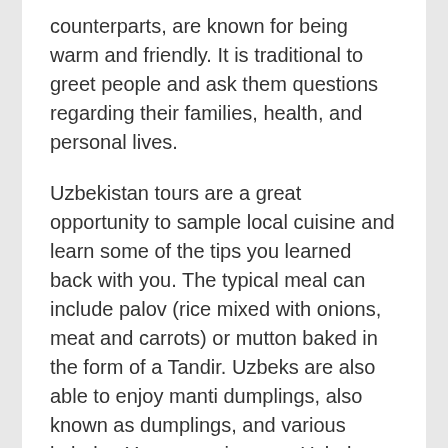counterparts, are known for being warm and friendly. It is traditional to greet people and ask them questions regarding their families, health, and personal lives.
Uzbekistan tours are a great opportunity to sample local cuisine and learn some of the tips you learned back with you. The typical meal can include palov (rice mixed with onions, meat and carrots) or mutton baked in the form of a Tandir. Uzbeks are also able to enjoy manti dumplings, also known as dumplings, and various kebabs. You can enjoy your Uzbek dishes with traditional black or green tea, or even a drinking yogurt, also known as the ayran. Although Uzbekistan is a predominantly Muslim country, it's also secular. This means that you can drink local wines from the region.